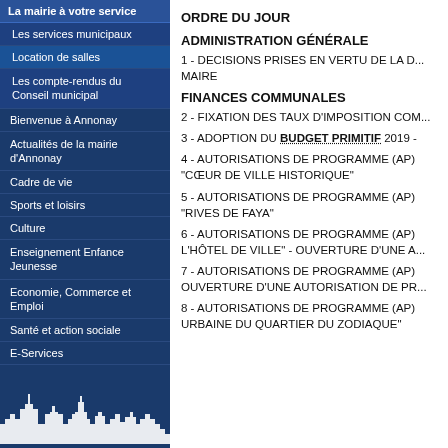La mairie à votre service
Les services municipaux
Location de salles
Les compte-rendus du Conseil municipal
Bienvenue à Annonay
Actualités de la mairie d'Annonay
Cadre de vie
Sports et loisirs
Culture
Enseignement Enfance Jeunesse
Economie, Commerce et Emploi
Santé et action sociale
E-Services
ORDRE DU JOUR
ADMINISTRATION GÉNÉRALE
1 - DECISIONS PRISES EN VERTU DE LA D... MAIRE
FINANCES COMMUNALES
2 - FIXATION DES TAUX D'IMPOSITION COM...
3 - ADOPTION DU BUDGET PRIMITIF 2019 -
4 - AUTORISATIONS DE PROGRAMME (AP) "CŒUR DE VILLE HISTORIQUE"
5 - AUTORISATIONS DE PROGRAMME (AP) "RIVES DE FAYA"
6 - AUTORISATIONS DE PROGRAMME (AP) L'HÔTEL DE VILLE" - OUVERTURE D'UNE A...
7 - AUTORISATIONS DE PROGRAMME (AP) OUVERTURE D'UNE AUTORISATION DE PR...
8 - AUTORISATIONS DE PROGRAMME (AP) URBAINE DU QUARTIER DU ZODIAQUE"